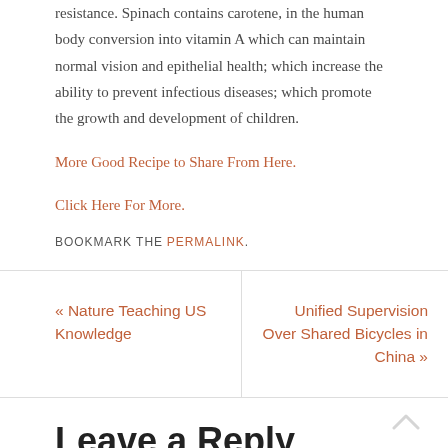resistance. Spinach contains carotene, in the human body conversion into vitamin A which can maintain normal vision and epithelial health; which increase the ability to prevent infectious diseases; which promote the growth and development of children.
More Good Recipe to Share From Here.
Click Here For More.
BOOKMARK THE PERMALINK.
« Nature Teaching US Knowledge
Unified Supervision Over Shared Bicycles in China »
Leave a Reply